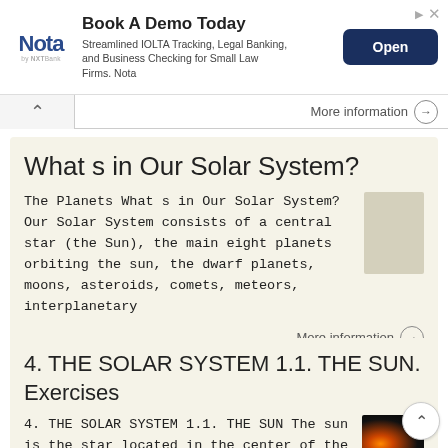[Figure (other): Advertisement banner for Nota by NXT Bank: 'Book A Demo Today - Streamlined IOLTA Tracking, Legal Banking, and Business Checking for Small Law Firms. Nota' with an Open button]
More information →
What s in Our Solar System?
The Planets What s in Our Solar System? Our Solar System consists of a central star (the Sun), the main eight planets orbiting the sun, the dwarf planets, moons, asteroids, comets, meteors, interplanetary
More information →
4. THE SOLAR SYSTEM 1.1. THE SUN. Exercises
4. THE SOLAR SYSTEM 1.1. THE SUN The sun is the star located in the center of the